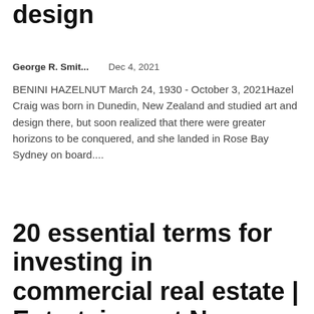design
George R. Smit...    Dec 4, 2021
BENINI HAZELNUT March 24, 1930 - October 3, 2021Hazel Craig was born in Dunedin, New Zealand and studied art and design there, but soon realized that there were greater horizons to be conquered, and she landed in Rose Bay Sydney on board....
20 essential terms for investing in commercial real estate | Entertainment News